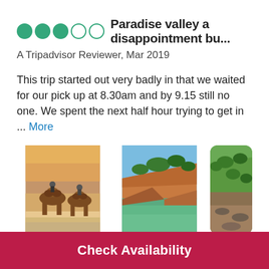Paradise valley a disappointment bu...
A Tripadvisor Reviewer, Mar 2019
This trip started out very badly in that we waited for our pick up at 8.30am and by 9.15 still no one. We spent the next half hour trying to get in ... More
[Figure (photo): People riding camels on a beach at sunset]
[Figure (photo): Rocky hillside with green trees above a green river]
[Figure (photo): Green hillside with trees and rocky terrain]
Check Availability